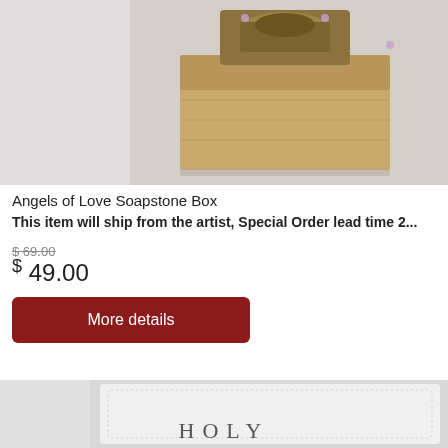[Figure (photo): Product photo of Angels of Love Soapstone Box - a decorative stone box with an ornate bronze angel figurine on the lid, set against a neutral background]
Angels of Love Soapstone Box
This item will ship from the artist, Special Order lead time 2...
$ 69.00 (strikethrough) $ 49.00
More details
[Figure (photo): Bottom portion of a white leather-bound Holy Bible product]